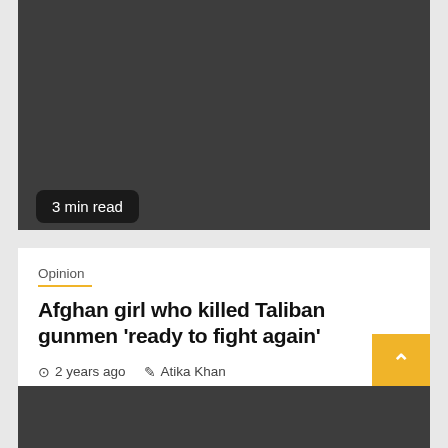[Figure (photo): Dark gray image placeholder at the top of a news article card]
3 min read
Opinion
Afghan girl who killed Taliban gunmen 'ready to fight again'
2 years ago   Atika Khan
[Figure (photo): Dark gray image placeholder at the bottom of the page]